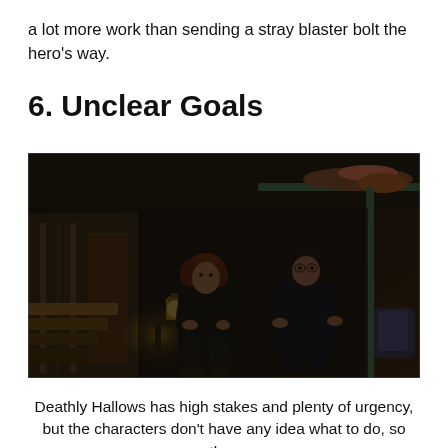a lot more work than sending a stray blaster bolt the hero’s way.
6. Unclear Goals
[Figure (photo): Two young men sit in a dimly lit, dark interior space resembling a tent or bunker. One has red hair and the other dark hair. A lantern glows on a small table between them. Bunk beds and a backpack are visible in the background.]
Deathly Hallows has high stakes and plenty of urgency, but the characters don’t have any idea what to do, so they